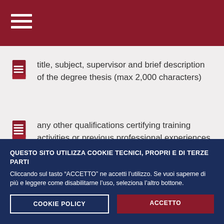title, subject, supervisor and brief description of the degree thesis (max 2,000 characters)
any other qualifications certifying training activities or previous professional experiences
QUESTO SITO UTILIZZA COOKIE TECNICI, PROPRI E DI TERZE PARTI
Cliccando sul tasto “ACCETTO” ne accetti l’utilizzo. Se vuoi saperne di più e leggere come disabilitarne l’uso, seleziona l’altro bottone.
COOKIE POLICY
ACCETTO